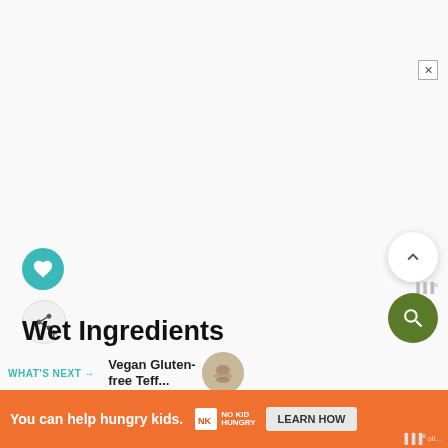Wet Ingredients
WHAT'S NEXT → Vegan Gluten-free Teff...
Unsweetened nondairy milk
[Figure (screenshot): Orange advertisement banner: 'You can help hungry kids.' with No Kid Hungry logo and LEARN HOW button. A close X button appears above the banner.]